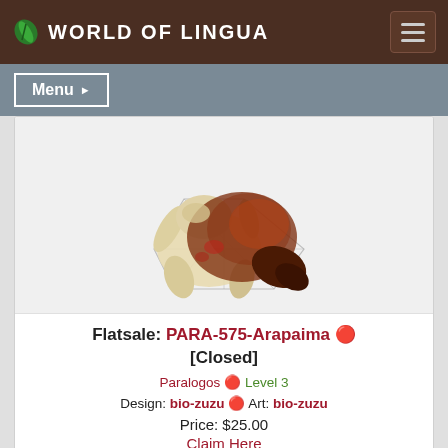WORLD OF LINGUA
[Figure (illustration): Hybrid creature illustration showing a pale/cream colored animal with dark reddish-brown reptilian or scaled overlay, suspended in a geometric wire cage structure, viewed against a light background.]
Flatsale: PARA-575-Arapaima 🔴 [Closed]
Paralogos 🔴 Level 3
Design: bio-zuzu 🔴 Art: bio-zuzu
Price: $25.00
Claim Here